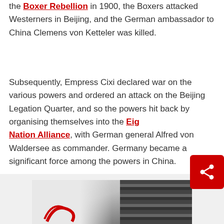the Boxer Rebellion in 1900, the Boxers attacked Westerners in Beijing, and the German ambassador to China Clemens von Ketteler was killed.
Subsequently, Empress Cixi declared war on the various powers and ordered an attack on the Beijing Legation Quarter, and so the powers hit back by organising themselves into the Eight-Nation Alliance, with German general Alfred von Waldersee as commander. Germany became a significant force among the powers in China.
[Figure (photo): Partial view of a historical photograph, partially visible at the bottom of the page, showing what appears to be a figure with a red design on the left and dark vertical elements on the right.]